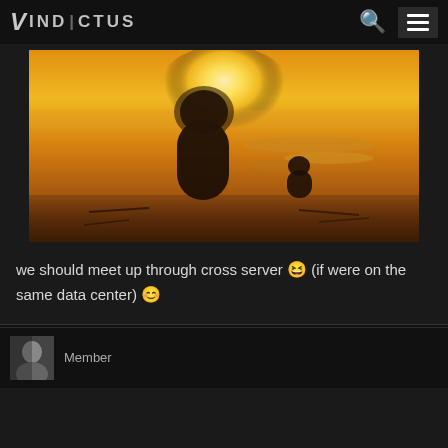VINDICTUS
[Figure (screenshot): Lion King style animated scene showing two silhouettes on a rocky ledge against a golden sunset sky with river reflections in the background.]
we should meet up through cross server 😆 (if were on the same data center) 😊
Member